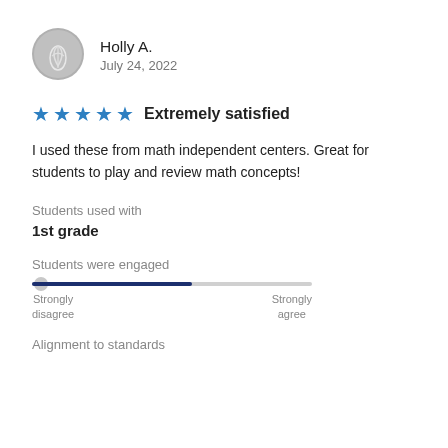[Figure (illustration): Circular gray avatar icon with a stylized leaf/plant design in white]
Holly A.
July 24, 2022
[Figure (other): Five blue star rating icons followed by bold text 'Extremely satisfied']
I used these from math independent centers. Great for students to play and review math concepts!
Students used with
1st grade
Students were engaged
[Figure (other): Horizontal slider bar showing position at roughly 60% filled with dark navy blue, with labels 'Strongly disagree' on left and 'Strongly agree' on right]
Alignment to standards